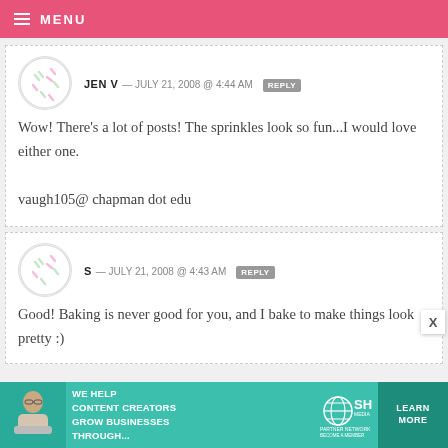MENU
JEN V — JULY 21, 2008 @ 4:44 AM  REPLY
Wow! There's a lot of posts! The sprinkles look so fun...I would love either one.
vaugh105@ chapman dot edu
S — JULY 21, 2008 @ 4:43 AM  REPLY
Good! Baking is never good for you, and I bake to make things look pretty :)
[Figure (infographic): SHE Partner Network advertisement banner with teal background, text 'WE HELP CONTENT CREATORS GROW BUSINESSES THROUGH...' and LEARN MORE button]